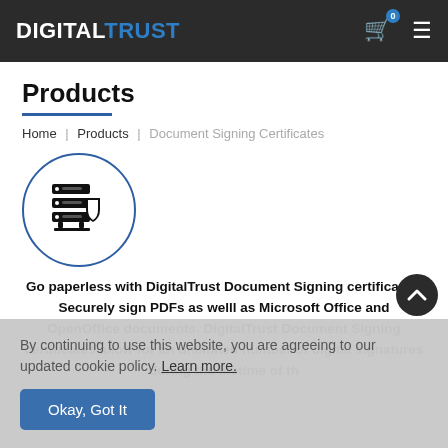DIGITAL TRUST
Products
Home | Products | Document Signing Certificates
[Figure (illustration): Icon of server/document with shield, inside a blue circle outline]
Go paperless with DigitalTrust Document Signing certificates. Securely sign PDFs as welll as Microsoft Office and OpenOffice documents. DigitalTrust Document Signing certificates allow for an unlimited number of digital signatures during the lifetime of th
By continuing to use this website, you are agreeing to our updated cookie policy. Learn more.
Okay, Got It